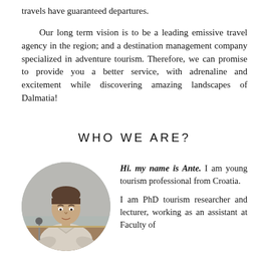travels have guaranteed departures.
Our long term vision is to be a leading emissive travel agency in the region; and a destination management company specialized in adventure tourism. Therefore, we can promise to provide you a better service, with adrenaline and excitement while discovering amazing landscapes of Dalmatia!
WHO WE ARE?
[Figure (photo): Circular portrait photo of a young man (Ante) in a light shirt, seated at a table with a microphone, gesturing with his hands]
Hi. my name is Ante. I am young tourism professional from Croatia.

I am PhD tourism researcher and lecturer, working as an assistant at Faculty of